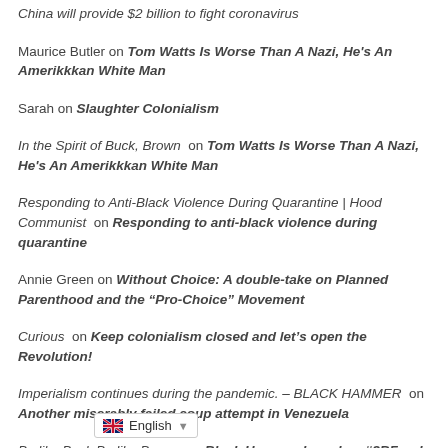China will provide $2 billion to fight coronavirus
Maurice Butler on Tom Watts Is Worse Than A Nazi, He's An Amerikkkan White Man
Sarah on Slaughter Colonialism
In the Spirit of Buck, Brown on Tom Watts Is Worse Than A Nazi, He's An Amerikkkan White Man
Responding to Anti-Black Violence During Quarantine | Hood Communist on Responding to anti-black violence during quarantine
Annie Green on Without Choice: A double-take on Planned Parenthood and the “Pro-Choice” Movement
Curious on Keep colonialism closed and let’s open the Revolution!
Imperialism continues during the pandemic. – BLACK HAMMER on Another miserably failed coup attempt in Venezuela
Be like Buck Be like Brown on Black Hammer launches #2BFrank to com…ts